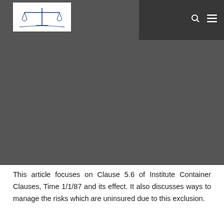[Figure (photo): Dark grey/charcoal header image area of a website. Top-left contains a white box with a logo showing scales of justice. Top-right shows a dark photographic overlay. Navigation icons (search and hamburger menu) are visible in white on the right side.]
This article focuses on Clause 5.6 of Institute Container Clauses, Time 1/1/87 and its effect. It also discusses ways to manage the risks which are uninsured due to this exclusion.